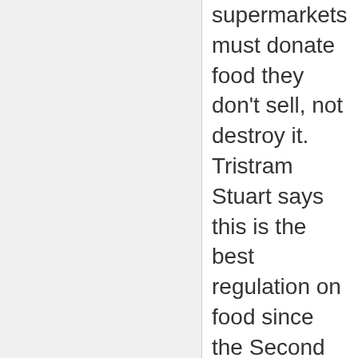supermarkets must donate food they don't sell, not destroy it. Tristram Stuart says this is the best regulation on food since the Second World War.
In Britain, the “Groceries Code Adjudicator Act” started in June 2013. It looks at